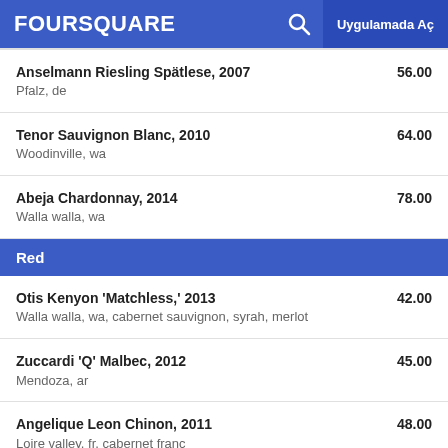FOURSQUARE  Uygulamada Aç
Anselmann Riesling Spätlese, 2007 | Pfalz, de | 56.00
Tenor Sauvignon Blanc, 2010 | Woodinville, wa | 64.00
Abeja Chardonnay, 2014 | Walla walla, wa | 78.00
Red
Otis Kenyon 'Matchless,' 2013 | Walla walla, wa, cabernet sauvignon, syrah, merlot | 42.00
Zuccardi 'Q' Malbec, 2012 | Mendoza, ar | 45.00
Angelique Leon Chinon, 2011 | Loire valley, fr, cabernet franc | 48.00
Syncline 'Subduction,' 2013 | Columbia valley, wa, mourvedre, carignan, grenache | 52.00